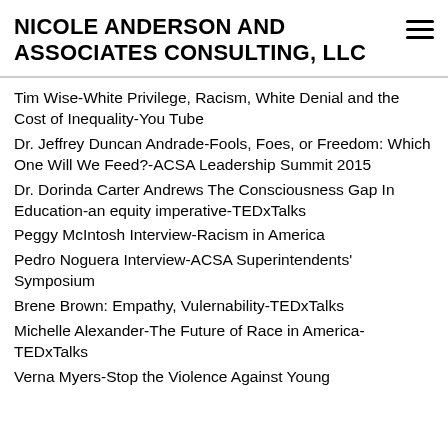NICOLE ANDERSON AND ASSOCIATES CONSULTING, LLC
Tim Wise-White Privilege, Racism, White Denial and the Cost of Inequality-You Tube
Dr. Jeffrey Duncan Andrade-Fools, Foes, or Freedom: Which One Will We Feed?-ACSA Leadership Summit 2015
Dr. Dorinda Carter Andrews The Consciousness Gap In Education-an equity imperative-TEDxTalks
Peggy McIntosh Interview-Racism in America
Pedro Noguera Interview-ACSA Superintendents' Symposium
Brene Brown: Empathy, Vulernability-TEDxTalks
Michelle Alexander-The Future of Race in America-TEDxTalks
Verna Myers-Stop the Violence Against Young